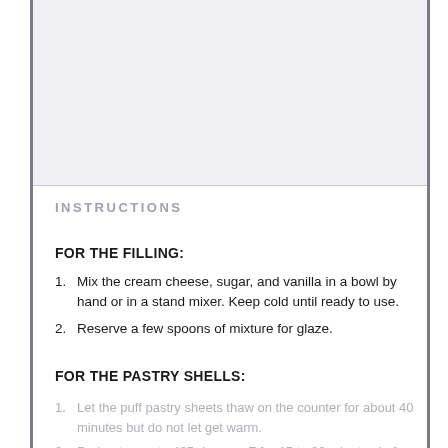[Figure (photo): Top portion of the page showing a light gray image area (photo placeholder or faded image)]
INSTRUCTIONS
FOR THE FILLING:
1. Mix the cream cheese, sugar, and vanilla in a bowl by hand or in a stand mixer. Keep cold until ready to use.
2. Reserve a few spoons of mixture for glaze.
FOR THE PASTRY SHELLS:
1. Let the puff pastry sheets thaw on the counter for about 40 minutes but do not let get warm.
2. Preheat oven to 425 degrees F for 15 to 20 minutes before baking.